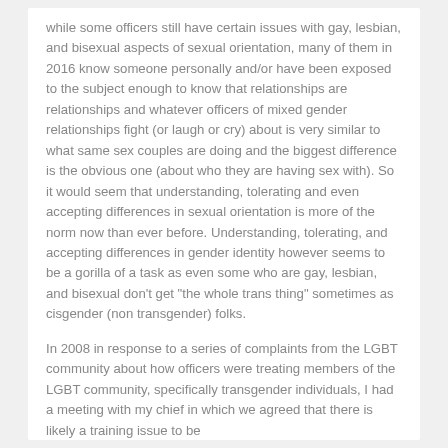while some officers still have certain issues with gay, lesbian, and bisexual aspects of sexual orientation, many of them in 2016 know someone personally and/or have been exposed to the subject enough to know that relationships are relationships and whatever officers of mixed gender relationships fight (or laugh or cry) about is very similar to what same sex couples are doing and the biggest difference is the obvious one (about who they are having sex with). So it would seem that understanding, tolerating and even accepting differences in sexual orientation is more of the norm now than ever before. Understanding, tolerating, and accepting differences in gender identity however seems to be a gorilla of a task as even some who are gay, lesbian, and bisexual don't get "the whole trans thing" sometimes as cisgender (non transgender) folks.
In 2008 in response to a series of complaints from the LGBT community about how officers were treating members of the LGBT community, specifically transgender individuals, I had a meeting with my chief in which we agreed that there is likely a training issue to be